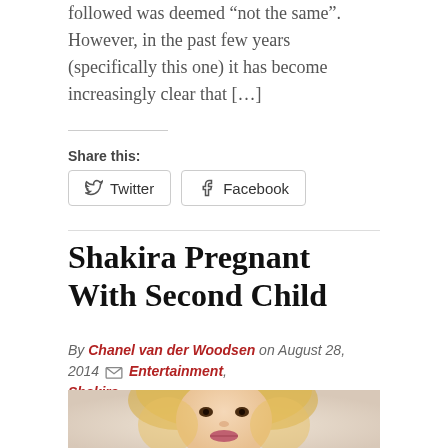followed was deemed “not the same”. However, in the past few years (specifically this one) it has become increasingly clear that […]
Share this:
Twitter  Facebook
Shakira Pregnant With Second Child
By Chanel van der Woodsen on August 28, 2014  Entertainment, Shakira
[Figure (photo): Close-up photo of Shakira with blonde wavy hair against a light background]